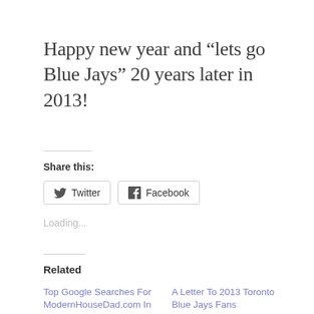Happy new year and “lets go Blue Jays” 20 years later in 2013!
Share this:
Loading...
Related
Top Google Searches For ModernHouseDad.com In 2013
December 28, 2013
A Letter To 2013 Toronto Blue Jays Fans
January 21, 2013
In “Toronto-Centric”